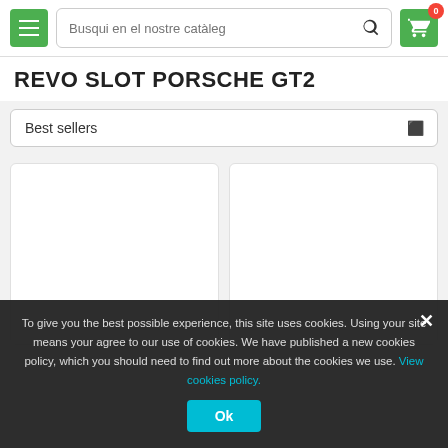Busqui en el nostre catàleg
REVO SLOT PORSCHE GT2
Best sellers
[Figure (screenshot): Two product cards shown side by side, partially visible, white background with rounded corners]
To give you the best possible experience, this site uses cookies. Using your site means your agree to our use of cookies. We have published a new cookies policy, which you should need to find out more about the cookies we use. View cookies policy.